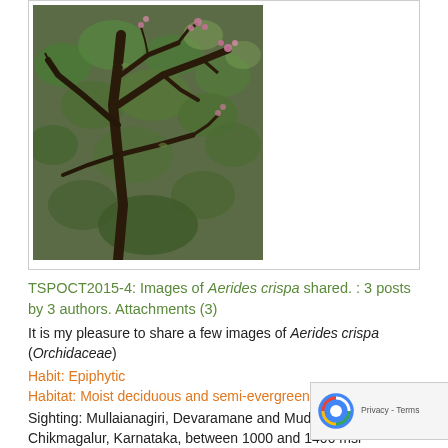[Figure (photo): A photograph of a tree with dark twisted branches and sparse pink/purple flowers against a background of green foliage. The image shows Aerides crispa growing as an epiphyte on a tree in a forest setting.]
TSPOCT2015-4: Images of Aerides crispa shared. : 3 posts by 3 authors. Attachments (3)
It is my pleasure to share a few images of Aerides crispa (Orchidaceae)
Habit: Epiphytic
Habitat: Moist deciduous and semi-evergreen forests
Sighting: Mullaianagiri, Devaramane and Mudigere in Chikmagalur, Karnataka, between 1000 and 1400 msl